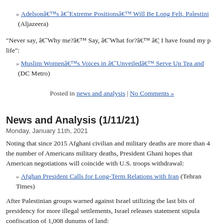» Adelsonâ€™s â€˜Extreme Positionsâ€™ Will Be Long Felt, Palesti... (Aljazeera)
“Never say, â€˜Why me?â€™ Say, â€˜What for?â€™ â€¦ I have found my p... life”:
» Muslim Womenâ€™s Voices in â€˜Unveiledâ€™ Serve Up Tea and ... (DC Metro)
Posted in news and analysis | No Comments »
News and Analysis (1/11/21)
Monday, January 11th, 2021
Noting that since 2015 Afghani civilian and military deaths are more than 4... the number of Americans military deaths, President Ghani hopes that... American negotiations will coincide with U.S. troops withdrawal:
» Afghan President Calls for Long-Term Relations with Iran (Tehran Times)
After Palestinian groups warned against Israel utilizing the last bits of... presidency for more illegal settlements, Israel releases statement stipula... confiscation of 1,008 dunums of land:
» Palestinians Warn Against Dozens of Settlement Plans (Asharq Al-Awsa...)
Iran gives Biden until Feb. 21 to change U.S. policy.